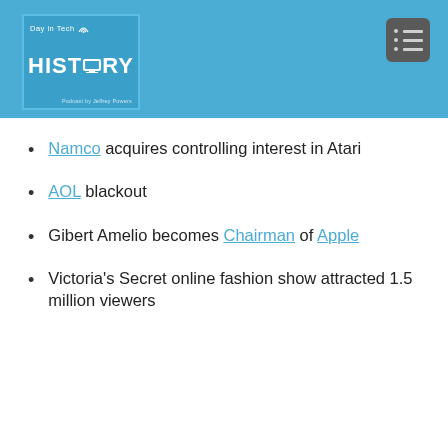[Figure (logo): Day in Tech HISTORY podcast logo on blue background with menu icon]
Namco acquires controlling interest in Atari
AOL blackout
Gibert Amelio becomes Chairman of Apple
Victoria's Secret online fashion show attracted 1.5 million viewers